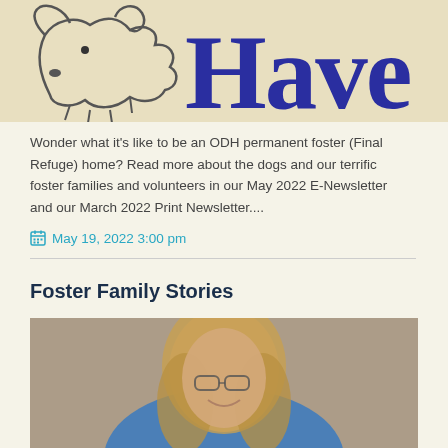[Figure (illustration): Partial logo image showing a dog illustration on the left and large blue 'Have' text on the right, cropped at bottom]
Wonder what it's like to be an ODH permanent foster (Final Refuge) home? Read more about the dogs and our terrific foster families and volunteers in our May 2022 E-Newsletter and our March 2022 Print Newsletter....
May 19, 2022 3:00 pm
Foster Family Stories
[Figure (photo): A woman with long blonde hair and glasses, smiling, cropped at bottom of page]